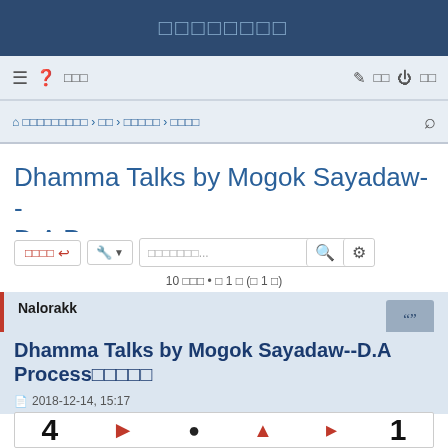□□□□□□□□
≡ ? □□□ | ✏ □□ ⏻ □□
⌂ □□□□□□□□□ ‹ □□ ‹ □□□□□ ‹ □□□□
Dhamma Talks by Mogok Sayadaw-- D.A Process□□□□□
□□□□ ↩ | 🔧 ▾ | □□□□□□□... 🔍 ⚙
10 □□□ • □ 1 □ (□ 1 □)
Nalorakk
Dhamma Talks by Mogok Sayadaw--D.A Process□□□□□
2018-12-14, 15:17
[Figure (other): Media player strip showing numbers and red arrow icons]